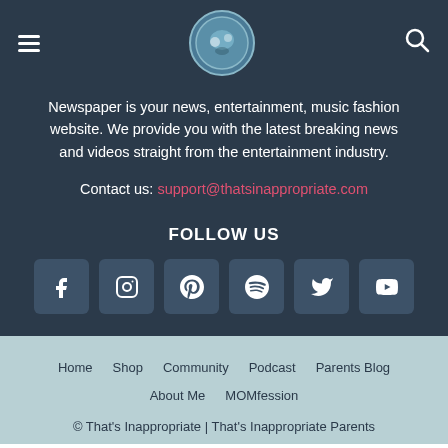Navigation bar with hamburger menu, logo, and search icon
Newspaper is your news, entertainment, music fashion website. We provide you with the latest breaking news and videos straight from the entertainment industry.
Contact us: support@thatsinappropriate.com
FOLLOW US
[Figure (other): Six social media icon buttons: Facebook, Instagram, Pinterest, Spotify, Twitter, YouTube]
Home  Shop  Community  Podcast  Parents Blog  About Me  MOMfession
© That's Inappropriate | That's Inappropriate Parents